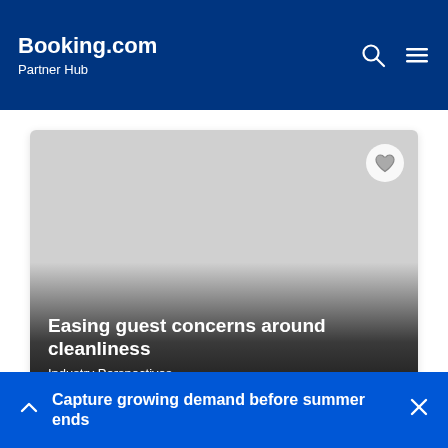Booking.com Partner Hub
[Figure (screenshot): Card image area with gradient overlay from light grey to dark, representing a hotel/cleanliness article thumbnail with a heart/favorite icon button in top-right corner.]
Easing guest concerns around cleanliness
Industry Perspectives
Cleanliness is currently top of mind for travellers, with customer mentions of “clean” and “safety” in questions to partners up by 61%. We explore how
Capture growing demand before summer ends